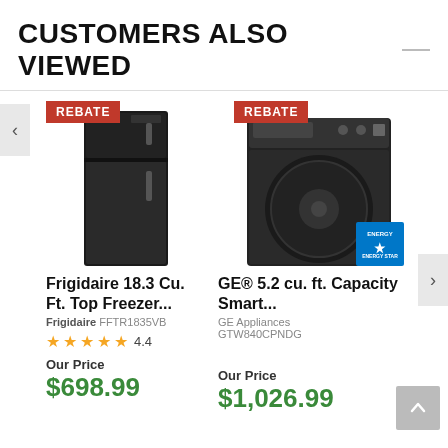CUSTOMERS ALSO VIEWED
[Figure (photo): Frigidaire black top-freezer refrigerator with REBATE badge]
Frigidaire 18.3 Cu. Ft. Top Freezer...
Frigidaire FFTR1835VB
4.4 stars rating
Our Price
$698.99
[Figure (photo): GE black top-load washing machine with REBATE badge and ENERGY STAR badge]
GE® 5.2 cu. ft. Capacity Smart...
GE Appliances GTW840CPNDG
Our Price
$1,026.99